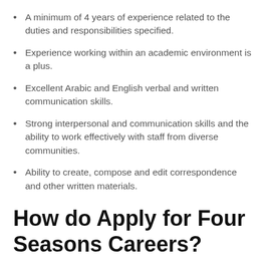A minimum of 4 years of experience related to the duties and responsibilities specified.
Experience working within an academic environment is a plus.
Excellent Arabic and English verbal and written communication skills.
Strong interpersonal and communication skills and the ability to work effectively with staff from diverse communities.
Ability to create, compose and edit correspondence and other written materials.
How do Apply for Four Seasons Careers?